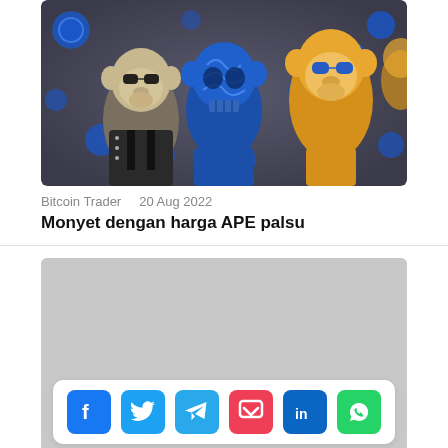[Figure (illustration): NFT artwork showing cartoon bored ape monkeys with sunglasses on a dark background with blue circular coin-like emblems scattered around. One monkey is dark/gray with a leather jacket, another is yellow/tan, and there is a blue skull-faced ape in the center.]
Bitcoin Trader   20 Aug 2022
Monyet dengan harga APE palsu
[Figure (other): Gray placeholder advertisement block containing a social media sharing bar at the bottom with icons for Facebook, Twitter, Telegram, Pocket, LinkedIn, and WhatsApp.]